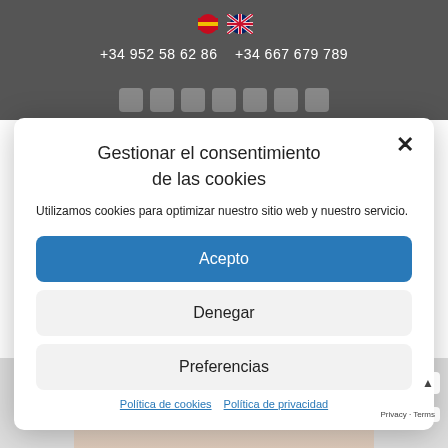+34 952 58 62 86   +34 667 679 789
Gestionar el consentimiento de las cookies
Utilizamos cookies para optimizar nuestro sitio web y nuestro servicio.
Acepto
Denegar
Preferencias
Política de cookies   Política de privacidad